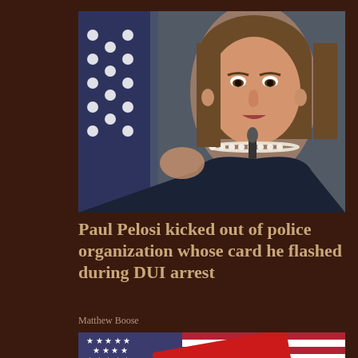[Figure (photo): Woman speaking at a podium or press conference, gesturing with one hand, American flag with white polka dots visible in background. She has brown shoulder-length hair, pearl necklace, and dark blazer.]
Paul Pelosi kicked out of police organization whose card he flashed during DUI arrest
Matthew Boose
[Figure (photo): American flag with a red Republican Party elephant logo card/sign in the foreground, stars and stripes visible.]